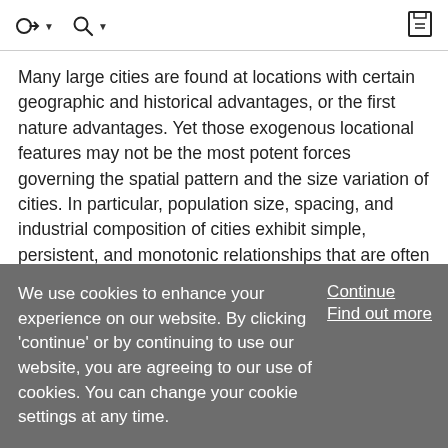navigation toolbar with icons
Many large cities are found at locations with certain geographic and historical advantages, or the first nature advantages. Yet those exogenous locational features may not be the most potent forces governing the spatial pattern and the size variation of cities. In particular, population size, spacing, and industrial composition of cities exhibit simple, persistent, and monotonic relationships that are often approximated by power laws. The extant theories of economic agglomeration explain some aspects of this regularity as a consequence of interactions between... Show More
We use cookies to enhance your experience on our website. By clicking 'continue' or by continuing to use our website, you are agreeing to our use of cookies. You can change your cookie settings at any time.